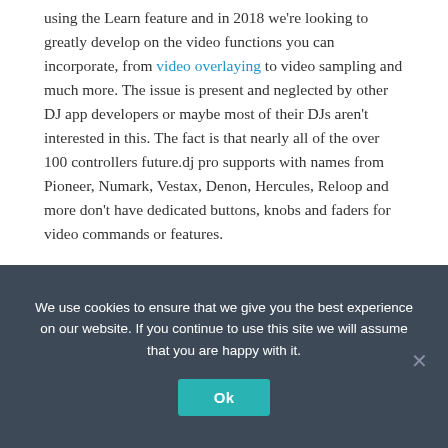using the Learn feature and in 2018 we're looking to greatly develop on the video functions you can incorporate, from video overlaying to video sampling and much more. The issue is present and neglected by other DJ app developers or maybe most of their DJs aren't interested in this. The fact is that nearly all of the over 100 controllers future.dj pro supports with names from Pioneer, Numark, Vestax, Denon, Hercules, Reloop and more don't have dedicated buttons, knobs and faders for video commands or features.
We use cookies to ensure that we give you the best experience on our website. If you continue to use this site we will assume that you are happy with it.
Ok